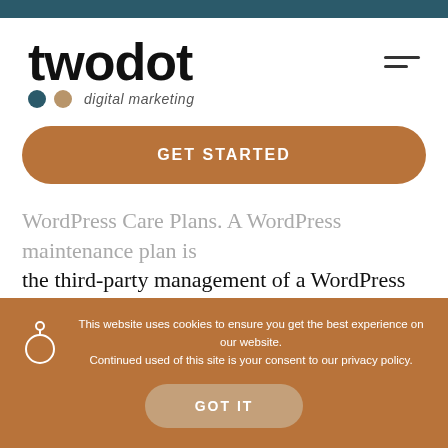[Figure (logo): twodot digital marketing logo with blue and tan dots]
GET STARTED
WordPress Care Plans. A WordPress maintenance plan is the third-party management of a WordPress website. It can include various services but typically includes routine maintenance of security, plugin, and core updates. This article explains the benefits of having a WordPress
This website uses cookies to ensure you get the best experience on our website. Continued used of this site is your consent to our privacy policy.
GOT IT